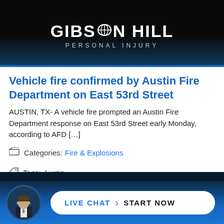[Figure (logo): Gibson Hill Personal Injury law firm logo — white bold text on dark/navy gradient background]
Vehicle fire confirmed by Austin Fire Department on East 53rd Street
AUSTIN, TX- A vehicle fire prompted an Austin Fire Department response on East 53rd Street early Monday, according to AFD […]
Categories: Fire & Explosions
Tags: Austin
[Figure (screenshot): Live chat widget at the bottom with attorney avatar photo and 'LIVE CHAT › START NOW' button on dark blue background]